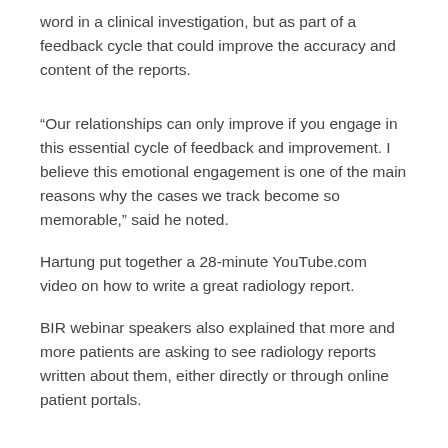word in a clinical investigation, but as part of a feedback cycle that could improve the accuracy and content of the reports.
“Our relationships can only improve if you engage in this essential cycle of feedback and improvement. I believe this emotional engagement is one of the main reasons why the cases we track become so memorable,” said he noted.
Hartung put together a 28-minute YouTube.com video on how to write a great radiology report.
BIR webinar speakers also explained that more and more patients are asking to see radiology reports written about them, either directly or through online patient portals.